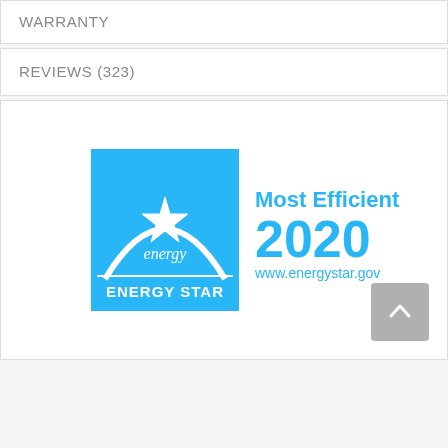WARRANTY
REVIEWS (323)
[Figure (logo): ENERGY STAR Most Efficient 2020 certification logo in blue. Left side shows the ENERGY STAR logo in a blue square with a white arc and star with 'energy' script text and 'ENERGY STAR' text below. Right side shows 'Most Efficient 2020' in large blue bold text with 'www.energystar.gov' below.]